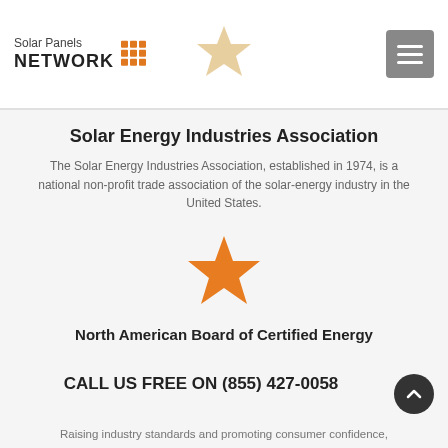Solar Panels NETWORK [logo with grid icon] | star icon | hamburger menu
Solar Energy Industries Association
The Solar Energy Industries Association, established in 1974, is a national non-profit trade association of the solar-energy industry in the United States.
[Figure (illustration): Orange star icon centered on page]
North American Board of Certified Energy
CALL US FREE ON (855) 427-0058
Raising industry standards and promoting consumer confidence,